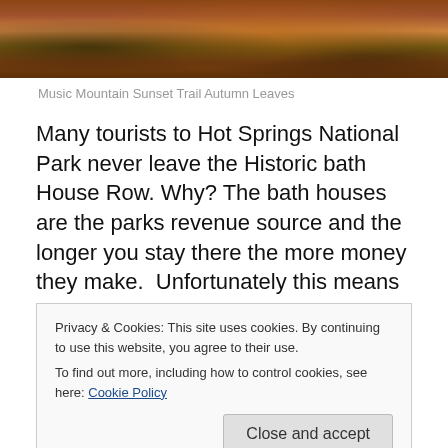[Figure (photo): Autumn leaves on a mountain trail with rocks visible, warm orange-brown tones, nature photography]
Music Mountain Sunset Trail Autumn Leaves
Many tourists to Hot Springs National Park never leave the Historic bath House Row. Why? The bath houses are the parks revenue source and the longer you stay there the more money they make.  Unfortunately this means many
Privacy & Cookies: This site uses cookies. By continuing to use this website, you agree to their use.
To find out more, including how to control cookies, see here: Cookie Policy
Close and accept
Springs Mountain with its iconic tower for spectacular